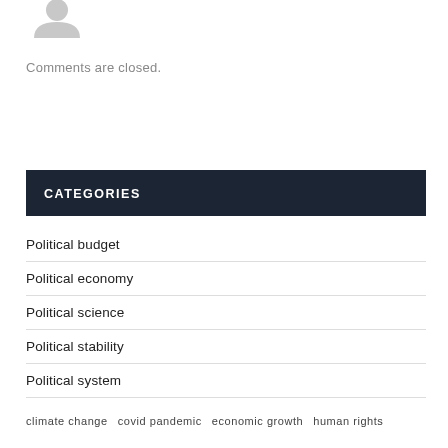[Figure (illustration): Silhouette of a generic user avatar (gray person icon)]
Comments are closed.
CATEGORIES
Political budget
Political economy
Political science
Political stability
Political system
climate change   covid pandemic   economic growth   human rights